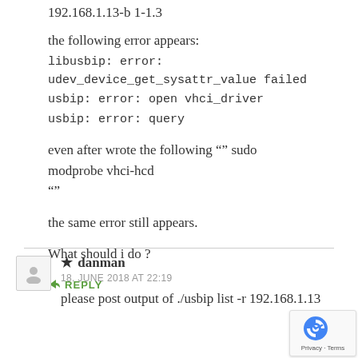192.168.1.13-b 1-1.3
the following error appears:
libusbip: error: udev_device_get_sysattr_value failed
usbip: error: open vhci_driver
usbip: error: query
even after wrote the following "" sudo modprobe vhci-hcd ""
the same error still appears.
What should i do ?
REPLY
★ danman
18. JUNE 2018 AT 22:19
please post output of ./usbip list -r 192.168.1.13